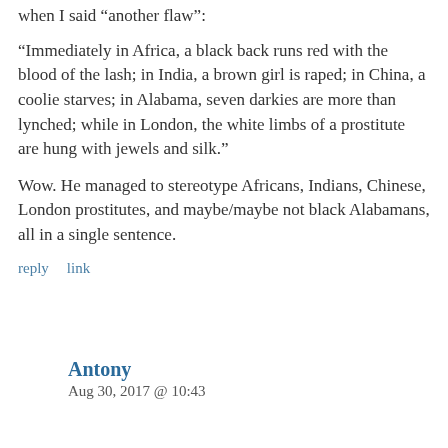when I said "another flaw":
“Immediately in Africa, a black back runs red with the blood of the lash; in India, a brown girl is raped; in China, a coolie starves; in Alabama, seven darkies are more than lynched; while in London, the white limbs of a prostitute are hung with jewels and silk.”
Wow. He managed to stereotype Africans, Indians, Chinese, London prostitutes, and maybe/maybe not black Alabamans, all in a single sentence.
reply    link
Antony
Aug 30, 2017 @ 10:43